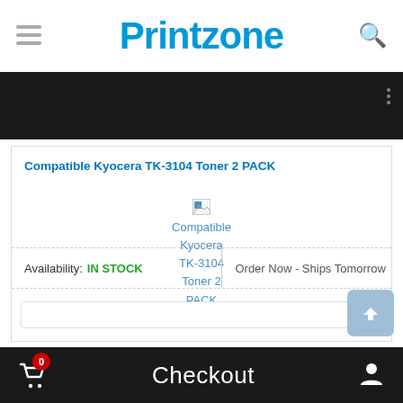[Figure (logo): Printzone website logo in blue bold text]
[Figure (screenshot): Dark navigation bar area of e-commerce website]
Compatible Kyocera TK-3104 Toner 2 PACK
[Figure (photo): Broken image placeholder for Compatible Kyocera TK-3104 Toner 2 PACK product image]
Availability: IN STOCK
Order Now - Ships Tomorrow
Checkout